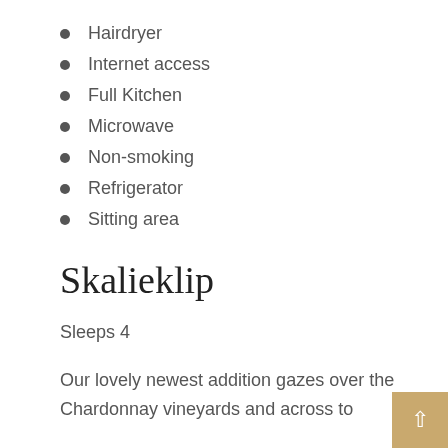Hairdryer
Internet access
Full Kitchen
Microwave
Non-smoking
Refrigerator
Sitting area
Skalieklip
Sleeps 4
Our lovely newest addition gazes over the Chardonnay vineyards and across to